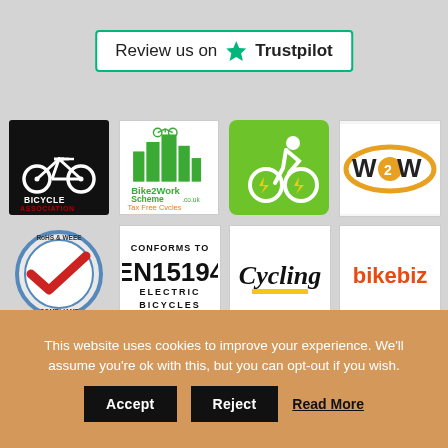[Figure (logo): Review us on Trustpilot badge with green star and green border]
[Figure (logo): Bicycle Association logo - white bicycle icon on black background]
[Figure (logo): Bike2Work Scheme .co.uk Tax Free Cycles logo with green city buildings]
[Figure (logo): Electric cyclist on green rounded square background with lightning bolt]
[Figure (logo): W2W logo with orange oval border]
[Figure (logo): RoHS & WEEE Compliant circular badge with red checkmark]
[Figure (logo): CONFORMS TO EN15194 ELECTRIC BICYCLES text logo]
[Figure (logo): Cycling magazine logo in italic bold text]
[Figure (logo): bikebiz logo in orange text]
This website uses cookies to improve your experience. We'll assume you're ok with this, but you can opt-out if you wish.
Accept  Reject  Read More